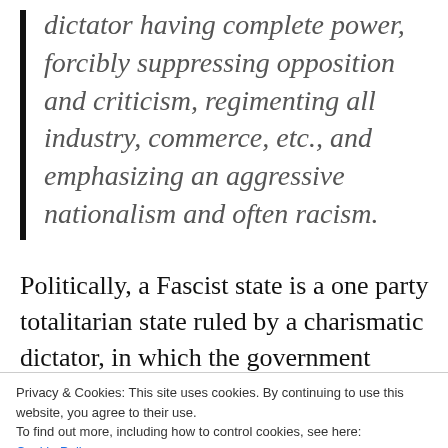dictator having complete power, forcibly suppressing opposition and criticism, regimenting all industry, commerce, etc., and emphasizing an aggressive nationalism and often racism.
Politically, a Fascist state is a one party totalitarian state ruled by a charismatic dictator, in which the government claims total control over the lives of the citizen's while
Privacy & Cookies: This site uses cookies. By continuing to use this website, you agree to their use.
To find out more, including how to control cookies, see here: Cookie Policy
economy controls it to such an extent that